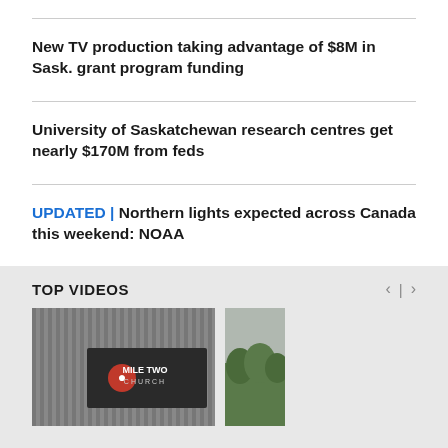New TV production taking advantage of $8M in Sask. grant program funding
University of Saskatchewan research centres get nearly $170M from feds
UPDATED | Northern lights expected across Canada this weekend: NOAA
TOP VIDEOS
[Figure (photo): Video thumbnail showing Mile Two Church sign on a dark building facade]
[Figure (photo): Partial video thumbnail showing trees against a grey sky]